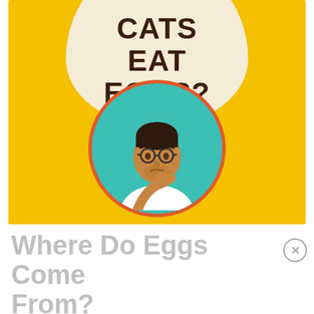[Figure (illustration): Book or article cover image showing a large egg shape on yellow background with text 'CATS EAT EGGS?' in dark brown bold letters, and a circular portrait of a man with glasses in a thinking pose on a teal/turquoise background, framed with an orange-red circle border.]
Where Do Eggs Come From?